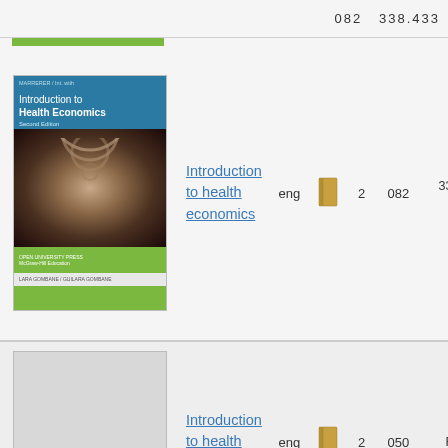082  338.433
Introduction to health economics | eng | 2 | 082 | 338.433 22)
Introduction to health economics | eng | 2 | 050 | RA410
Introduction to health economics by Wonderling, David | eng | 2
Introduction to health economics | eng | 2 | 082 | 338.433